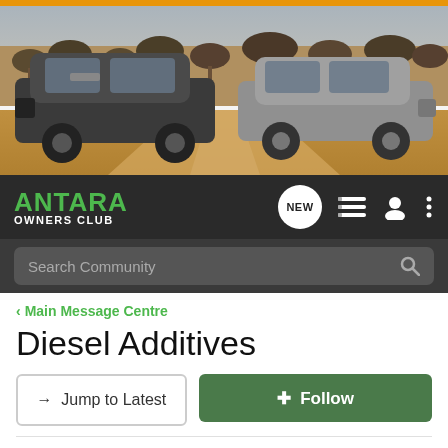[Figure (photo): Banner photo showing two SUVs (dark grey Vauxhall Antara and silver Opel Mokka) parked on a dirt road in an African savanna landscape with trees in background. Orange stripe at top.]
ANTARA OWNERS CLUB
Search Community
< Main Message Centre
Diesel Additives
→ Jump to Latest
+ Follow
1 - 14 of 14 Posts
Dave7 · Registered
Joined Nov 17, 2013 · 37 Posts